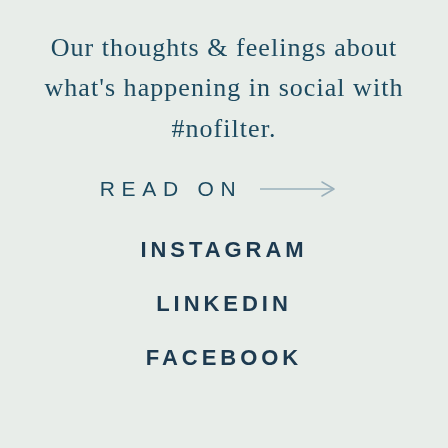Our thoughts & feelings about what's happening in social with #nofilter.
READ ON →
INSTAGRAM
LINKEDIN
FACEBOOK